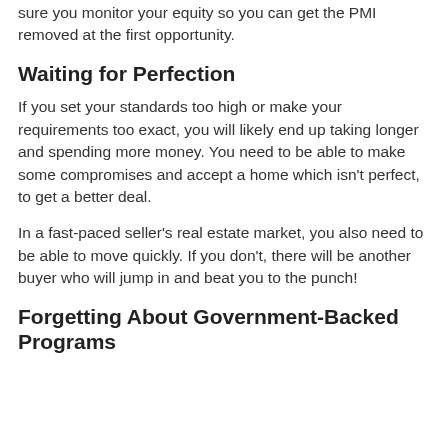sure you monitor your equity so you can get the PMI removed at the first opportunity.
Waiting for Perfection
If you set your standards too high or make your requirements too exact, you will likely end up taking longer and spending more money. You need to be able to make some compromises and accept a home which isn't perfect, to get a better deal.
In a fast-paced seller's real estate market, you also need to be able to move quickly. If you don't, there will be another buyer who will jump in and beat you to the punch!
Forgetting About Government-Backed Programs